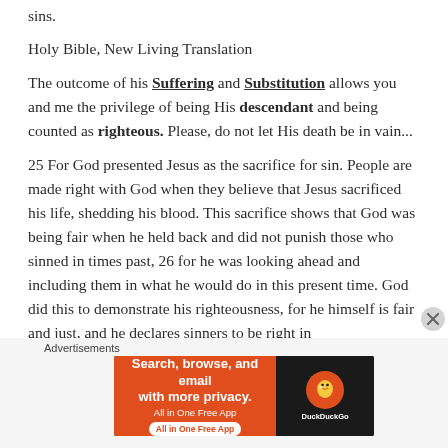sins.
Holy Bible, New Living Translation
The outcome of his Suffering and Substitution allows you and me the privilege of being His descendant and being counted as righteous. Please, do not let His death be in vain...
25 For God presented Jesus as the sacrifice for sin. People are made right with God when they believe that Jesus sacrificed his life, shedding his blood. This sacrifice shows that God was being fair when he held back and did not punish those who sinned in times past, 26 for he was looking ahead and including them in what he would do in this present time. God did this to demonstrate his righteousness, for he himself is fair and just, and he declares sinners to be right in
Advertisements
[Figure (screenshot): DuckDuckGo advertisement banner: 'Search, browse, and email with more privacy. All in One Free App' with DuckDuckGo logo on dark background]